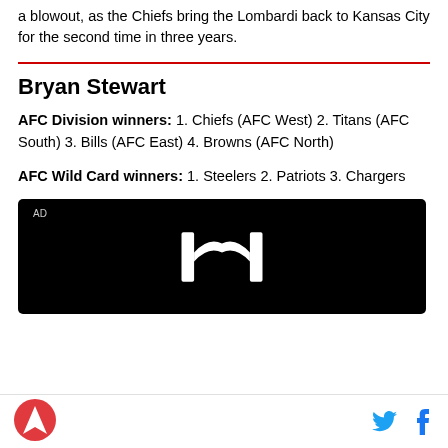a blowout, as the Chiefs bring the Lombardi back to Kansas City for the second time in three years.
Bryan Stewart
AFC Division winners: 1. Chiefs (AFC West) 2. Titans (AFC South) 3. Bills (AFC East) 4. Browns (AFC North)
AFC Wild Card winners: 1. Steelers 2. Patriots 3. Chargers
[Figure (other): Honda advertisement banner with Honda logo on black background]
SB Nation logo, Twitter icon, Facebook icon